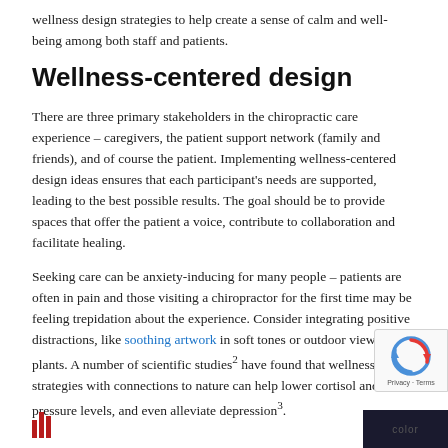wellness design strategies to help create a sense of calm and well-being among both staff and patients.
Wellness-centered design
There are three primary stakeholders in the chiropractic care experience – caregivers, the patient support network (family and friends), and of course the patient. Implementing wellness-centered design ideas ensures that each participant's needs are supported, leading to the best possible results. The goal should be to provide spaces that offer the patient a voice, contribute to collaboration and facilitate healing.
Seeking care can be anxiety-inducing for many people – patients are often in pain and those visiting a chiropractor for the first time may be feeling trepidation about the experience. Consider integrating positive distractions, like soothing artwork in soft tones or outdoor views and plants. A number of scientific studies2 have found that wellness design strategies with connections to nature can help lower cortisol and blood pressure levels, and even alleviate depression3.